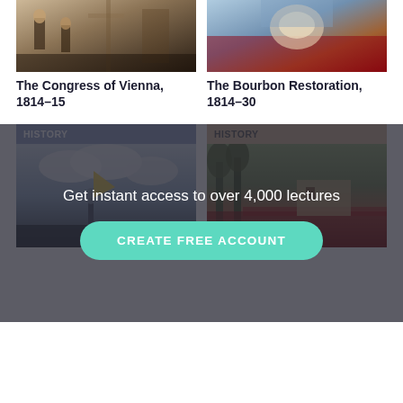[Figure (photo): Historical painting - The Congress of Vienna scene with figures in period dress]
[Figure (photo): Historical painting - The Bourbon Restoration scene with figures]
The Congress of Vienna, 1814-15
The Bourbon Restoration, 1814-30
[Figure (photo): History card with blue banner showing figure holding flag, battle scene]
[Figure (photo): History card with tan banner showing battle scene with soldiers]
Get instant access to over 4,000 lectures
CREATE FREE ACCOUNT
Napoleon III: Foreign and Imperial Policy, 1848-70
The Unification of Italy, 1736-1871